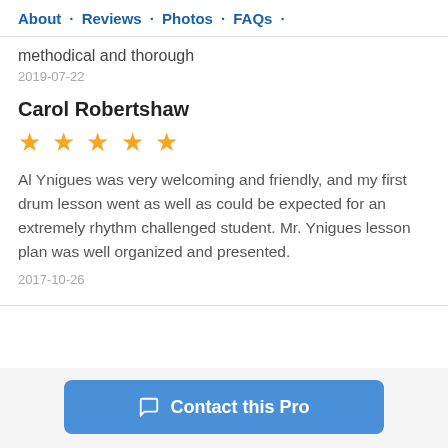About · Reviews · Photos · FAQs ·
methodical and thorough
2019-07-22
Carol Robertshaw
[Figure (other): Five gold star rating]
Al Ynigues was very welcoming and friendly, and my first drum lesson went as well as could be expected for an extremely rhythm challenged student. Mr. Ynigues lesson plan was well organized and presented.
2017-10-26
Contact this Pro